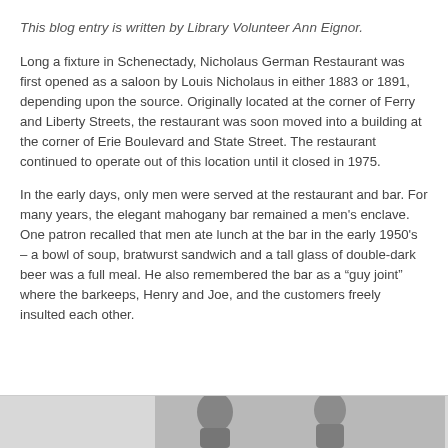This blog entry is written by Library Volunteer Ann Eignor.
Long a fixture in Schenectady, Nicholaus German Restaurant was first opened as a saloon by Louis Nicholaus in either 1883 or 1891, depending upon the source. Originally located at the corner of Ferry and Liberty Streets, the restaurant was soon moved into a building at the corner of Erie Boulevard and State Street. The restaurant continued to operate out of this location until it closed in 1975.
In the early days, only men were served at the restaurant and bar. For many years, the elegant mahogany bar remained a men's enclave. One patron recalled that men ate lunch at the bar in the early 1950's – a bowl of soup, bratwurst sandwich and a tall glass of double-dark beer was a full meal. He also remembered the bar as a “guy joint” where the barkeeps, Henry and Joe, and the customers freely insulted each other.
[Figure (photo): Grayscale photograph at the bottom of the page showing people, partially cropped]